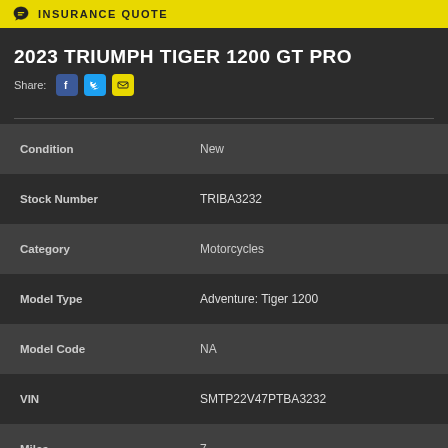INSURANCE QUOTE
2023 TRIUMPH TIGER 1200 GT PRO
Share:
| Field | Value |
| --- | --- |
| Condition | New |
| Stock Number | TRIBA3232 |
| Category | Motorcycles |
| Model Type | Adventure: Tiger 1200 |
| Model Code | NA |
| VIN | SMTP22V47PTBA3232 |
| Miles | 7 |
| Color | Lucerne Blue |